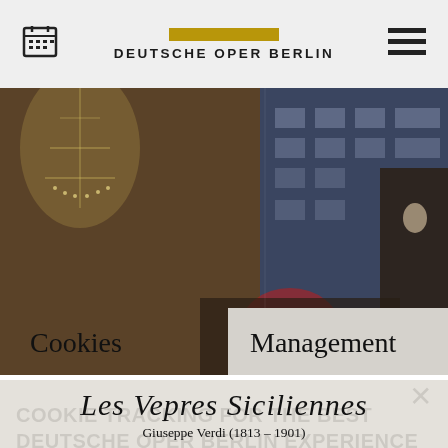DEUTSCHE OPER BERLIN
[Figure (screenshot): Hero image of opera stage/building with dramatic lighting, chandeliers on the left side and architectural facades with performers on the right]
Cookies    Management
×
COOKIE TRACKING FOR THE BEST DEUTSCHE OPER BERLIN EXPERIENCE
By selecting "Accept necessary cookies" you allow Deutsche Oper Berlin to use technically necessary cookies, pixels, tags and similar technologies. Selecting
Les Vepres Siciliennes
Giuseppe Verdi (1813 – 1901)